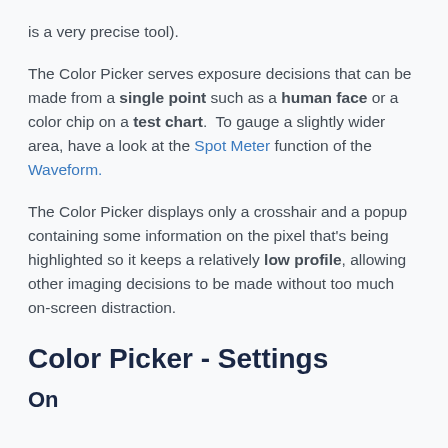is a very precise tool).
The Color Picker serves exposure decisions that can be made from a single point such as a human face or a color chip on a test chart.  To gauge a slightly wider area, have a look at the Spot Meter function of the Waveform.
The Color Picker displays only a crosshair and a popup containing some information on the pixel that's being highlighted so it keeps a relatively low profile, allowing other imaging decisions to be made without too much on-screen distraction.
Color Picker - Settings
On